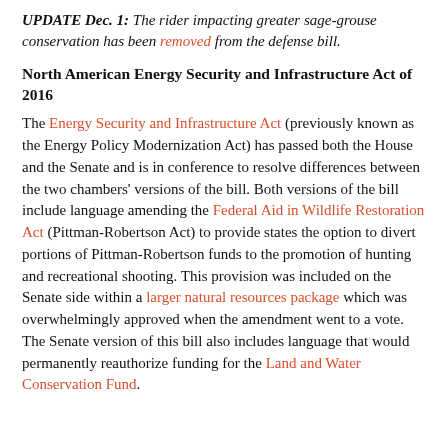UPDATE Dec. 1: The rider impacting greater sage-grouse conservation has been removed from the defense bill.
North American Energy Security and Infrastructure Act of 2016
The Energy Security and Infrastructure Act (previously known as the Energy Policy Modernization Act) has passed both the House and the Senate and is in conference to resolve differences between the two chambers' versions of the bill. Both versions of the bill include language amending the Federal Aid in Wildlife Restoration Act (Pittman-Robertson Act) to provide states the option to divert portions of Pittman-Robertson funds to the promotion of hunting and recreational shooting. This provision was included on the Senate side within a larger natural resources package which was overwhelmingly approved when the amendment went to a vote. The Senate version of this bill also includes language that would permanently reauthorize funding for the Land and Water Conservation Fund.